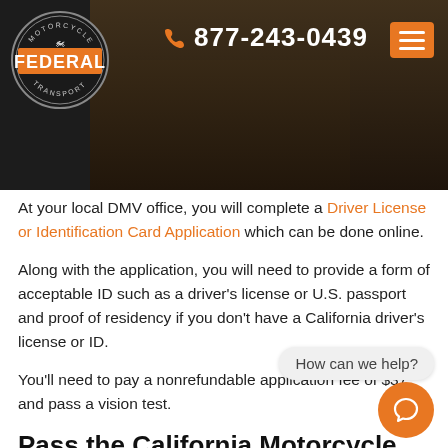[Figure (screenshot): Website header with Federal Motorcycle Transport logo on left, phone number 877-243-0439 on right, and hamburger menu button. Dark background with motorcycle image.]
At your local DMV office, you will complete a Driver License or Identification Card Application which can be done online.
Along with the application, you will need to provide a form of acceptable ID such as a driver's license or U.S. passport and proof of residency if you don't have a California driver's license or ID.
You'll need to pay a nonrefundable application fee of $37 and pass a vision test.
Pass the California Motorcycle License Written Test
The next step of getting a California motorcycle license passing a written knowledge test. You have three tries to take the test before you need to submit a new application.